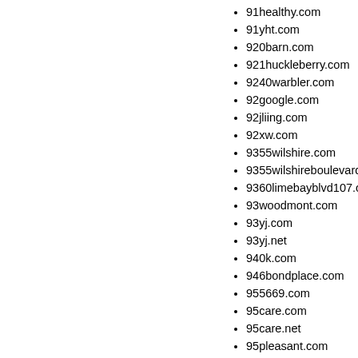91healthy.com
91yht.com
920barn.com
921huckleberry.com
9240warbler.com
92google.com
92jliing.com
92xw.com
9355wilshire.com
9355wilshireboulevard.com
9360limebayblvd107.com
93woodmont.com
93yj.com
93yj.net
940k.com
946bondplace.com
955669.com
95care.com
95care.net
95pleasant.com
9690brentwoodway.com
9692firelands.com
9753lubao.com
9786999.com
98773.com
989666.com
98jd.com
98pb.com